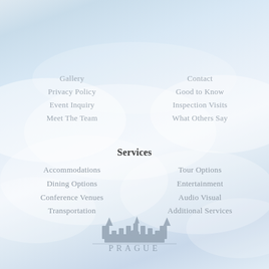[Figure (illustration): Cloudy sky background with soft blue and white tones]
Gallery
Privacy Policy
Event Inquiry
Meet The Team
Contact
Good to Know
Inspection Visits
What Others Say
Services
Accommodations
Dining Options
Conference Venues
Transportation
Tour Options
Entertainment
Audio Visual
Additional Services
[Figure (logo): Prague Events logo with castle silhouette and text PRAGUE EVENTS]